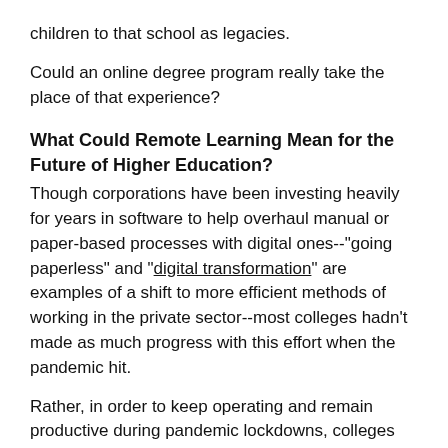children to that school as legacies.
Could an online degree program really take the place of that experience?
What Could Remote Learning Mean for the Future of Higher Education?
Though corporations have been investing heavily for years in software to help overhaul manual or paper-based processes with digital ones--"going paperless" and "digital transformation" are examples of a shift to more efficient methods of working in the private sector--most colleges hadn't made as much progress with this effort when the pandemic hit.
Rather, in order to keep operating and remain productive during pandemic lockdowns, colleges were forced to